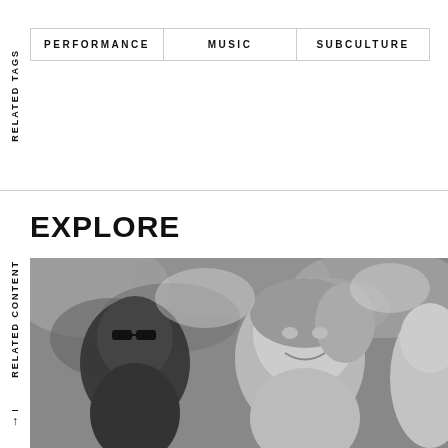RELATED TAGS
| PERFORMANCE | MUSIC | SUBCULTURE |
| --- | --- | --- |
RELATED CONTENT
EXPLORE
[Figure (photo): Black and white photograph of two people outdoors, one wearing sunglasses, surrounded by foliage]